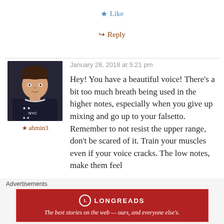★ Like
↪ Reply
[Figure (photo): Avatar photo of a young man in a dark NYC sweatshirt]
★ ahmin3
January 28, 2018 at 5:21 pm
Hey! You have a beautiful voice! There's a bit too much breath being used in the higher notes, especially when you give up mixing and go up to your falsetto. Remember to not resist the upper range, don't be scared of it. Train your muscles even if your voice cracks. The low notes, make them feel
Advertisements
[Figure (logo): Longreads advertisement banner: The best stories on the web — ours, and everyone else's.]